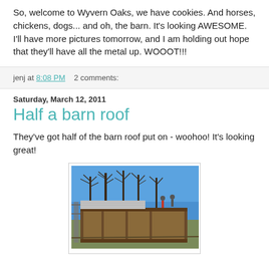So, welcome to Wyvern Oaks, we have cookies. And horses, chickens, dogs... and oh, the barn. It's looking AWESOME. I'll have more pictures tomorrow, and I am holding out hope that they'll have all the metal up. WOOOT!!!
jenj at 8:08 PM   2 comments:
Saturday, March 12, 2011
Half a barn roof
They've got half of the barn roof put on - woohoo! It's looking great!
[Figure (photo): Photo of a barn under construction with half the metal roof installed, workers on the roof, bare trees and blue sky in the background]